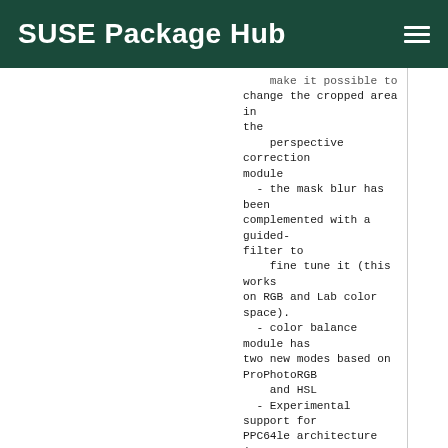SUSE Package Hub
make it possible to change the cropped area in the
    perspective correction module
  - the mask blur has been complemented with a guided-filter to
    fine tune it (this works on RGB and Lab color space).
  - color balance module has two new modes based on ProPhotoRGB
    and HSL
  - Experimental support for PPC64le architecture (OpenCL support
    needs to be disabled, `-DUSE_OPENCL=OFF`)
  - New Features And Changes
  - search from the map view is now fixed
  - visual rework of the lighttable (color label, image kind,
    local copy)
  - an option make it possible to display some image information
    directly on the thumb
  - add optional scrollbars on lighttable, or lighttable and
    darkroom